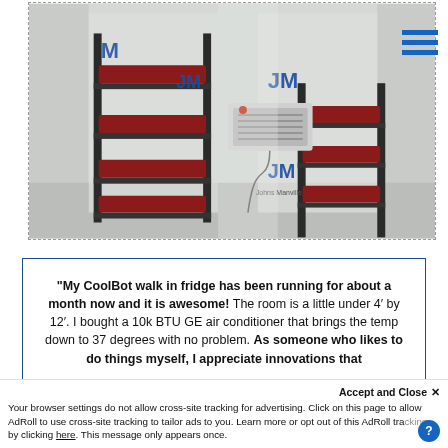[Figure (photo): Interior of a walk-in cooler/cold storage room built with Johns Manville insulation foam boards (JM branded). Metal shelving units hold red containers/strawberry flats. An air conditioner is mounted on the wall in the background. The walls are lined with JM branded foam insulation panels.]
"My CoolBot walk in fridge has been running for about a month now and it is awesome! The room is a little under 4′ by 12′. I bought a 10k BTU GE air conditioner that brings the temp down to 37 degrees with no problem. As someone who likes to do things myself, I appreciate innovations that
Accept and Close ✕
Your browser settings do not allow cross-site tracking for advertising. Click on this page to allow AdRoll to use cross-site tracking to tailor ads to you. Learn more or opt out of this AdRoll tracking by clicking here. This message only appears once.